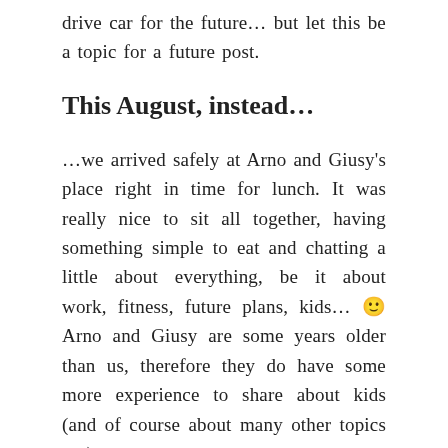drive car for the future… but let this be a topic for a future post.
This August, instead…
…we arrived safely at Arno and Giusy's place right in time for lunch. It was really nice to sit all together, having something simple to eat and chatting a little about everything, be it about work, fitness, future plans, kids… 🙂 Arno and Giusy are some years older than us, therefore they do have some more experience to share about kids (and of course about many other topics too).
In the afternoon we also had the chance to have a walk through the village: we would have loved to make a bigger tour, but it was starting to rain…